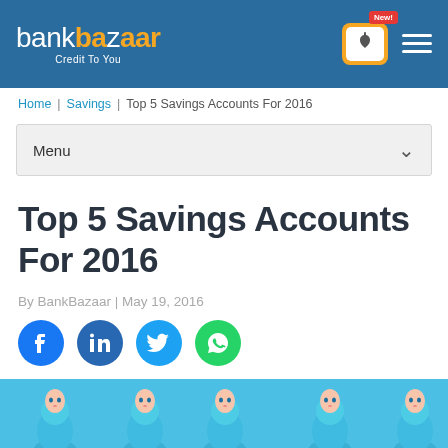bankbazaar – Credit To You
Home | Savings | Top 5 Savings Accounts For 2016
Menu
Top 5 Savings Accounts For 2016
By BankBazaar | May 19, 2016
[Figure (screenshot): Social sharing buttons: Facebook, LinkedIn, Twitter, WhatsApp]
[Figure (illustration): Blue background with illustrated matryoshka doll figures in blue clothing]